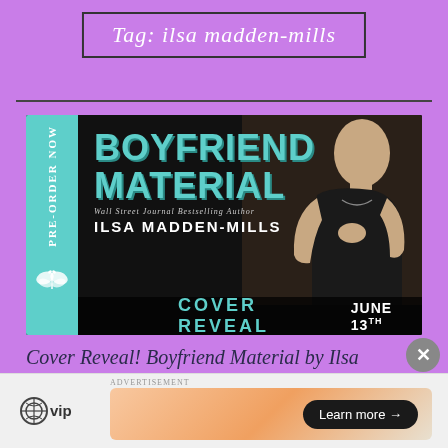Tag: ilsa madden-mills
[Figure (illustration): Book cover reveal banner for 'Boyfriend Material' by Ilsa Madden-Mills. Teal left sidebar with 'PRE-ORDER NOW' text and butterfly logo. Large bold teal title 'BOYFRIEND MATERIAL' on dark background, with author name 'ILSA MADDEN-MILLS' below, subtitle 'Wall Street Journal Bestselling Author'. Bottom bar reads 'COVER REVEAL JUNE 13TH'. Right side shows a photo of an attractive man in a dark tank top.]
Cover Reveal! Boyfriend Material by Ilsa Madden-Mills